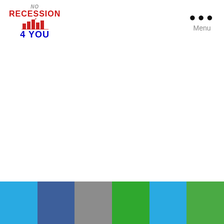[Figure (logo): No Recession 4 You logo with text 'NO' in gray italic, 'RECESSION' in red bold, a building/bar chart icon in red, and '4 YOU' in blue bold]
Menu
[Figure (infographic): Color bar at bottom with six colored segments: light blue, dark blue, gray, green, light blue, green]